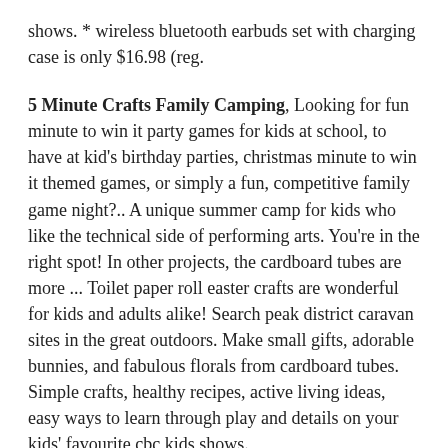shows. * wireless bluetooth earbuds set with charging case is only $16.98 (reg.
5 Minute Crafts Family Camping, Looking for fun minute to win it party games for kids at school, to have at kid's birthday parties, christmas minute to win it themed games, or simply a fun, competitive family game night?.. A unique summer camp for kids who like the technical side of performing arts. You're in the right spot! In other projects, the cardboard tubes are more ... Toilet paper roll easter crafts are wonderful for kids and adults alike! Search peak district caravan sites in the great outdoors. Make small gifts, adorable bunnies, and fabulous florals from cardboard tubes. Simple crafts, healthy recipes, active living ideas, easy ways to learn through play and details on your kids' favourite cbc kids shows.
5* quality camping from the minute we. Toilet paper roll easter crafts are wonderful for kids and adults alike! Some of